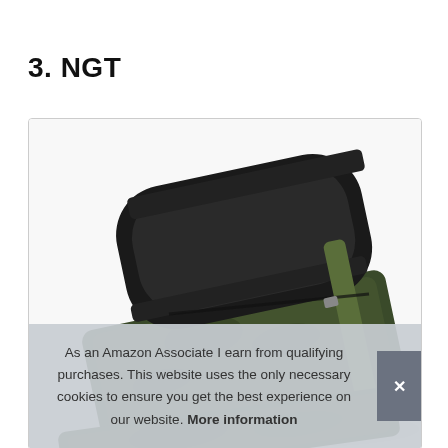3. NGT
[Figure (photo): Product photo of an NGT fishing rod/gear bag or case, olive/camouflage green fabric with black padding, rolled or folded, viewed at an angle against a white background inside a rounded rectangle border.]
As an Amazon Associate I earn from qualifying purchases. This website uses the only necessary cookies to ensure you get the best experience on our website. More information